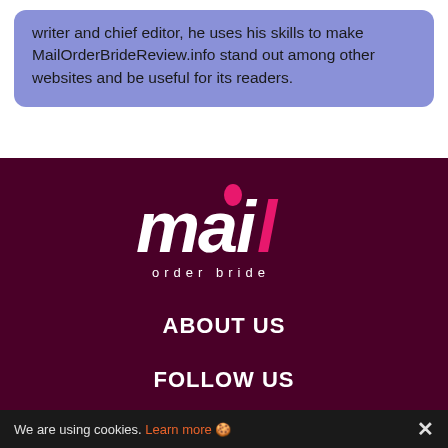writer and chief editor, he uses his skills to make MailOrderBrideReview.info stand out among other websites and be useful for its readers.
[Figure (logo): Mail Order Bride logo — stylized white handwritten 'mail' text with a pink heart-dot on the 'i' and pink cursive 'il' flourish, with 'order bride' subtitle below in spaced white letters, on dark maroon background]
ABOUT US
FOLLOW US
We are using cookies. Learn more 🍪